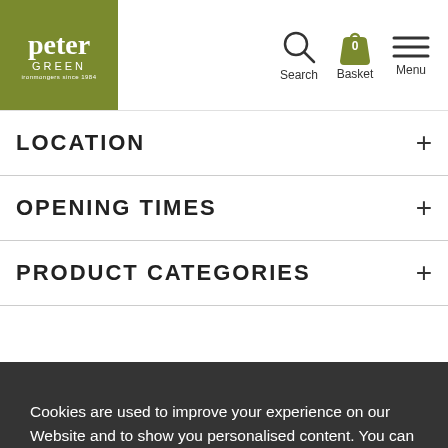peter GREEN — Search, Basket, Menu
LOCATION
OPENING TIMES
PRODUCT CATEGORIES
Cookies are used to improve your experience on our Website and to show you personalised content. You can opt out of non-essential Cookies by clicking here.
ACCEPT AND CLOSE